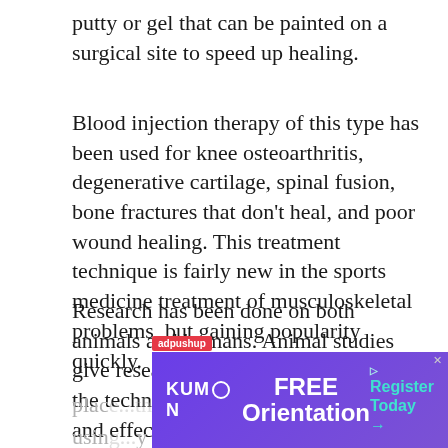putty or gel that can be painted on a surgical site to speed up healing.
Blood injection therapy of this type has been used for knee osteoarthritis, degenerative cartilage, spinal fusion, bone fractures that don’t heal, and poor wound healing. This treatment technique is fairly new in the sports medicine treatment of musculoskeletal problems, but gaining popularity quickly.
Research has been done on both animals and humans. Animal studies give researchers a place to start until the technique is determined to be safe and effective. Then trials with humans take place... studies have been done using... by
[Figure (other): Advertisement overlay: adpushup label with Kumon FREE Orientation banner ad with Register Today call to action button]